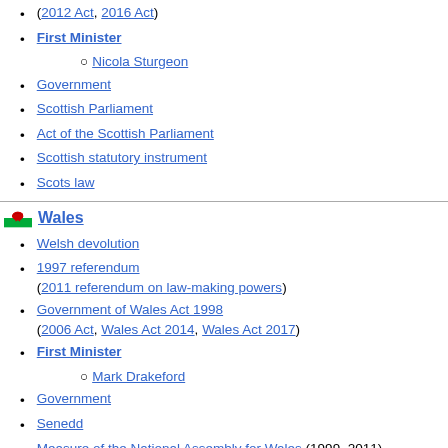(2012 Act, 2016 Act)
First Minister
Nicola Sturgeon
Government
Scottish Parliament
Act of the Scottish Parliament
Scottish statutory instrument
Scots law
Wales
Welsh devolution
1997 referendum (2011 referendum on law-making powers)
Government of Wales Act 1998 (2006 Act, Wales Act 2014, Wales Act 2017)
First Minister
Mark Drakeford
Government
Senedd
Measure of the National Assembly for Wales (1999–2011)
Act of Senedd Cymru
Welsh law
Administration